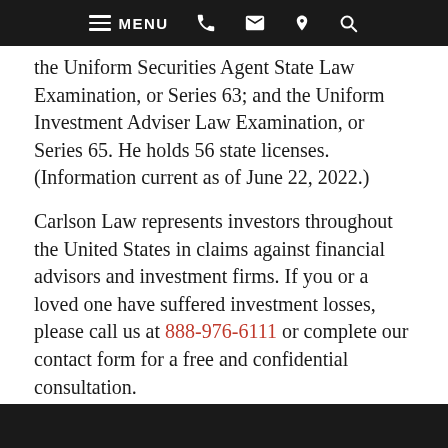MENU (navigation bar with icons)
the Uniform Securities Agent State Law Examination, or Series 63; and the Uniform Investment Adviser Law Examination, or Series 65. He holds 56 state licenses. (Information current as of June 22, 2022.)
Carlson Law represents investors throughout the United States in claims against financial advisors and investment firms. If you or a loved one have suffered investment losses, please call us at 888-976-6111 or complete our contact form for a free and confidential consultation.
[Figure (other): Social media share icons: Facebook (blue), Twitter (light blue), LinkedIn (blue)]
Chase Carlson | Posted on June 22, 2022